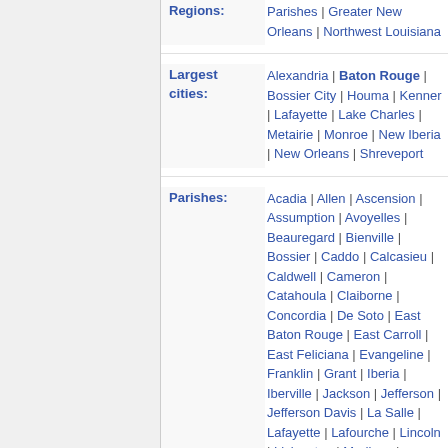Regions: Parishes | Greater New Orleans | Northwest Louisiana
Largest cities: Alexandria | Baton Rouge | Bossier City | Houma | Kenner | Lafayette | Lake Charles | Metairie | Monroe | New Iberia | New Orleans | Shreveport
Parishes: Acadia | Allen | Ascension | Assumption | Avoyelles | Beauregard | Bienville | Bossier | Caddo | Calcasieu | Caldwell | Cameron | Catahoula | Claiborne | Concordia | De Soto | East Baton Rouge | East Carroll | East Feliciana | Evangeline | Franklin | Grant | Iberia | Iberville | Jackson | Jefferson | Jefferson Davis | La Salle | Lafayette | Lafourche | Lincoln | Livingston | Madison | Morehouse | Natchitoches | Orleans | Ouachita |